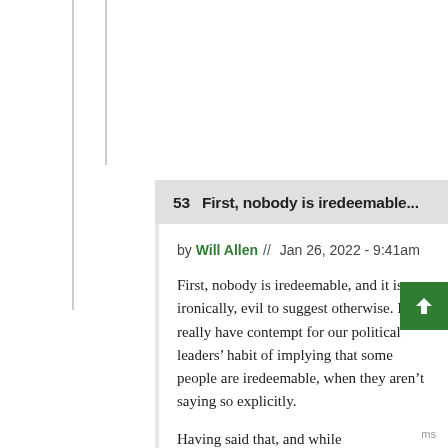53   First, nobody is iredeemable...
by Will Allen // Jan 26, 2022 - 9:41am
First, nobody is iredeemable, and it is, ironically, evil to suggest otherwise. I really have contempt for our political leaders' habit of implying that some people are iredeemable, when they aren't saying so explicitly.
Having said that, and while